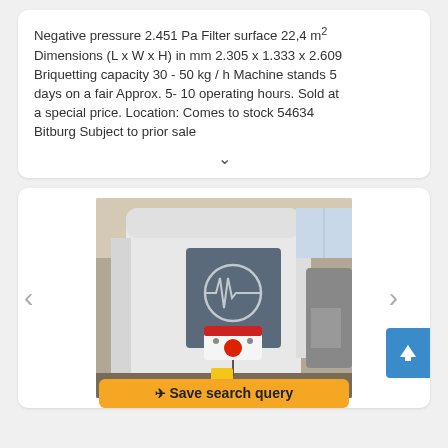Negative pressure 2.451 Pa Filter surface 22,4 m² Dimensions (L x W x H) in mm 2.305 x 1.333 x 2.609 Briquetting capacity 30 - 50 kg / h Machine stands 5 days on a fair Approx. 5- 10 operating hours. Sold at a special price. Location: Comes to stock 54634 Bitburg Subject to prior sale
[Figure (photo): Industrial briquetting/filter machine with a gray control panel showing a gear/heartbeat logo, a red emergency stop button, and control switches. The machine is large and white, located in an industrial facility. The photo is taken at a trade fair or showroom.]
Save search query